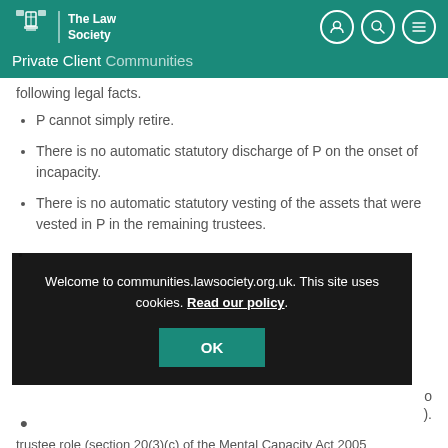The Law Society — Private Client Communities
following legal facts.
P cannot simply retire.
There is no automatic statutory discharge of P on the onset of incapacity.
There is no automatic statutory vesting of the assets that were vested in P in the remaining trustees.
[Figure (screenshot): Cookie consent overlay: 'Welcome to communities.lawsociety.org.uk. This site uses cookies. Read our policy.' with OK button]
trustee role (section 20(3)(c) of the Mental Capacity Act 2005 (MCA 2005)) – separate Court of Protection (CoP) authority